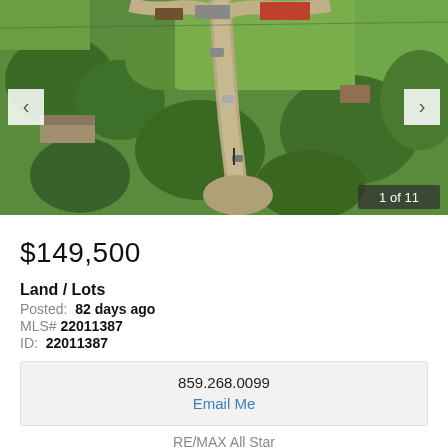[Figure (photo): Aerial drone photograph of a rural property with a long gravel driveway, green grass, trees, and several outbuildings/structures visible from above. Navigation arrows on left and right sides. Photo counter '1 of 11' in lower right corner.]
$149,500
Land / Lots
Posted: 82 days ago
MLS# 22011387
ID: 22011387
859.268.0099
Email Me
RE/MAX All Star
Listing Courtesy of RE/MAX All Star